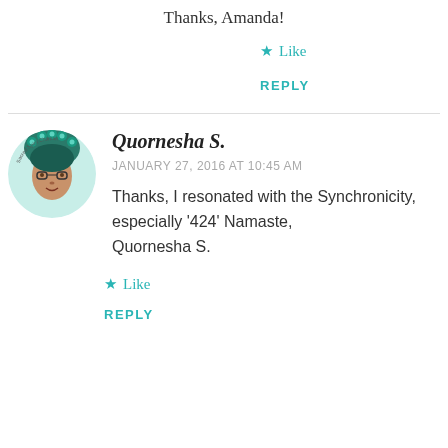Thanks, Amanda!
Like
REPLY
[Figure (illustration): Circular avatar image of Quornesha S. with colorful floral/peacock headdress, glasses, labeled 'Sacred Spirit Shaman']
Quornesha S.
JANUARY 27, 2016 AT 10:45 AM
Thanks, I resonated with the Synchronicity, especially '424' Namaste, Quornesha S.
Like
REPLY